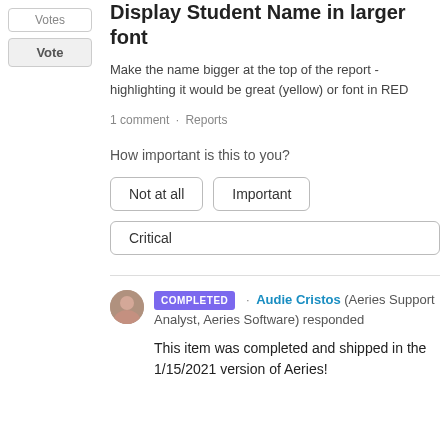Votes
Vote
Display Student Name in larger font
Make the name bigger at the top of the report - highlighting it would be great (yellow) or font in RED
1 comment · Reports
How important is this to you?
Not at all
Important
Critical
COMPLETED · Audie Cristos (Aeries Support Analyst, Aeries Software) responded
This item was completed and shipped in the 1/15/2021 version of Aeries!